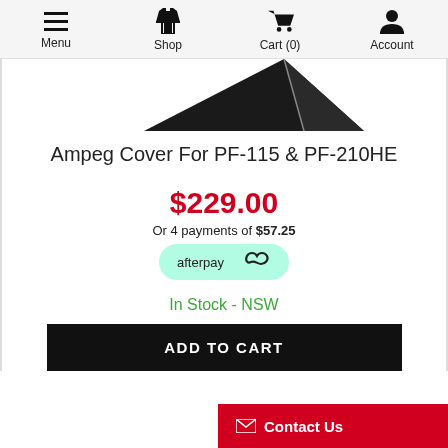Menu | Shop | Cart (0) | Account
[Figure (photo): Partial view of a black Ampeg speaker cover product image, showing triangular dark shape on white background]
Ampeg Cover For PF-115 & PF-210HE
$229.00
Or 4 payments of $57.25
[Figure (logo): Afterpay badge - mint green rounded pill with afterpay logo and infinity symbol]
In Stock - NSW
ADD TO CART
Contact Us